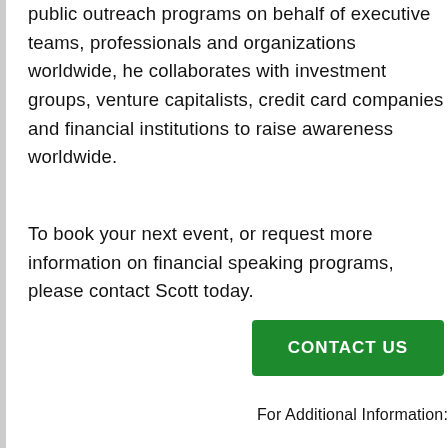public outreach programs on behalf of executive teams, professionals and organizations worldwide, he collaborates with investment groups, venture capitalists, credit card companies and financial institutions to raise awareness worldwide.
To book your next event, or request more information on financial speaking programs, please contact Scott today.
CONTACT US
For Additional Information: